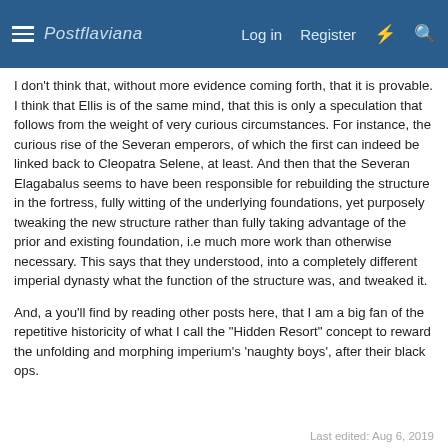Postflaviana  Log in  Register
I don't think that, without more evidence coming forth, that it is provable. I think that Ellis is of the same mind, that this is only a speculation that follows from the weight of very curious circumstances. For instance, the curious rise of the Severan emperors, of which the first can indeed be linked back to Cleopatra Selene, at least. And then that the Severan Elagabalus seems to have been responsible for rebuilding the structure in the fortress, fully witting of the underlying foundations, yet purposely tweaking the new structure rather than fully taking advantage of the prior and existing foundation, i.e much more work than otherwise necessary. This says that they understood, into a completely different imperial dynasty what the function of the structure was, and tweaked it.
And, a you'll find by reading other posts here, that I am a big fan of the repetitive historicity of what I call the "Hidden Resort" concept to reward the unfolding and morphing imperium's 'naughty boys', after their black ops.
Last edited: Aug 6, 2019